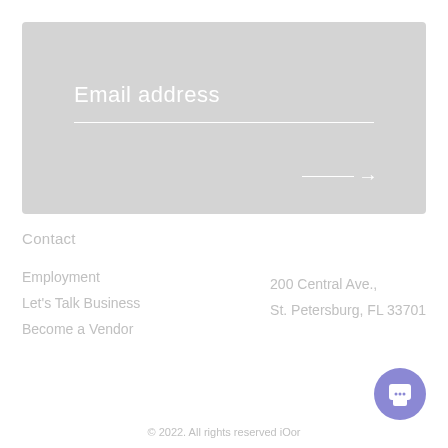[Figure (screenshot): Email address input box with a white underline and a right arrow button, on a light gray background]
Contact
Employment
Let's Talk Business
Become a Vendor
200 Central Ave., St. Petersburg, FL 33701
[Figure (illustration): Purple chat/support button circle icon in bottom right corner]
© 2022. All rights reserved iOor